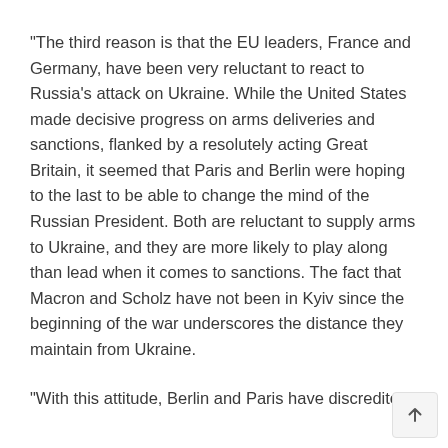"The third reason is that the EU leaders, France and Germany, have been very reluctant to react to Russia's attack on Ukraine. While the United States made decisive progress on arms deliveries and sanctions, flanked by a resolutely acting Great Britain, it seemed that Paris and Berlin were hoping to the last to be able to change the mind of the Russian President. Both are reluctant to supply arms to Ukraine, and they are more likely to play along than lead when it comes to sanctions. The fact that Macron and Scholz have not been in Kyiv since the beginning of the war underscores the distance they maintain from Ukraine.
"With this attitude, Berlin and Paris have discredited themselves in the eyes of Europe's Central European...